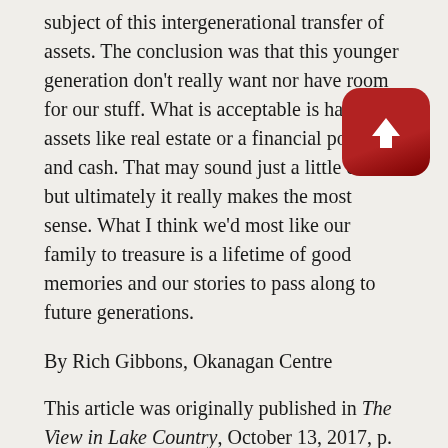subject of this intergenerational transfer of assets. The conclusion was that this younger generation don't really want nor have room for our stuff. What is acceptable is hard assets like real estate or a financial portfolio and cash. That may sound just a little crass but ultimately it really makes the most sense. What I think we'd most like our family to treasure is a lifetime of good memories and our stories to pass along to future generations.
By Rich Gibbons, Okanagan Centre
This article was originally published in The View in Lake Country, October 13, 2017, p. 12.
1 Photo by Carol Thomson